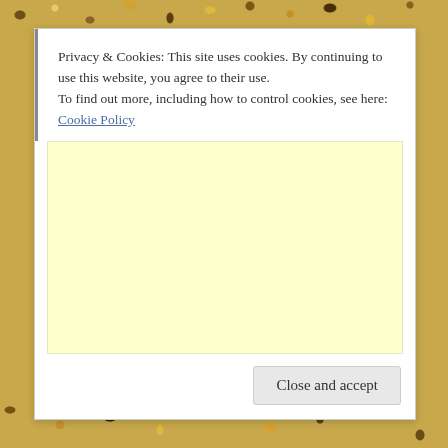[Figure (photo): Background image with golden/brown speckled confetti pattern visible at top and bottom edges behind the modal dialog.]
Privacy & Cookies: This site uses cookies. By continuing to use this website, you agree to their use.
To find out more, including how to control cookies, see here: Cookie Policy
[Figure (other): Large light yellow rectangular advertisement or content placeholder area.]
Close and accept